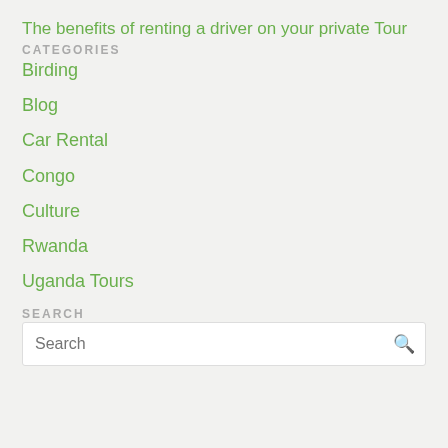The benefits of renting a driver on your private Tour
CATEGORIES
Birding
Blog
Car Rental
Congo
Culture
Rwanda
Uganda Tours
SEARCH
Search